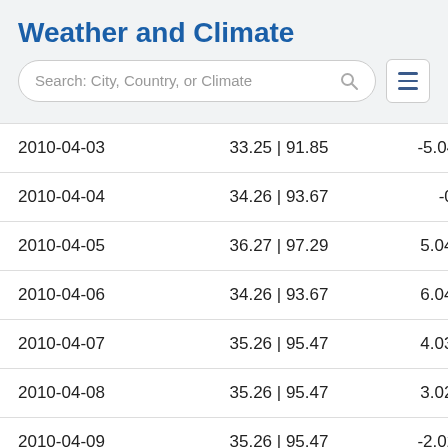Weather and Climate
Search: City, Country, or Climate
| 2010-04-03 | 33.25 | 91.85 | -5.04 | 22.93 |
| 2010-04-04 | 34.26 | 93.67 | -0.0 | 0 |
| 2010-04-05 | 36.27 | 97.29 | 5.04 | 41.07 |
| 2010-04-06 | 34.26 | 93.67 | 6.04 | 42.87 |
| 2010-04-07 | 35.26 | 95.47 | 4.03 | 39.25 |
| 2010-04-08 | 35.26 | 95.47 | 3.02 | 37.44 |
| 2010-04-09 | 35.26 | 95.47 | -2.02 | 28.36 |